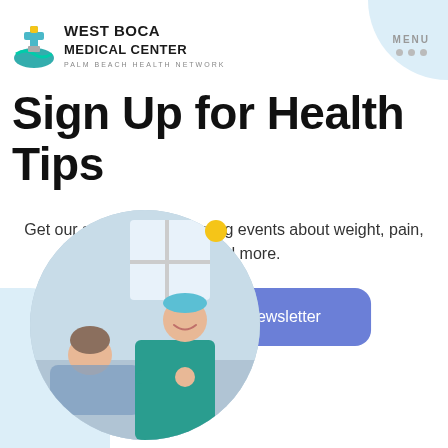[Figure (logo): West Boca Medical Center logo with teal/yellow cross icon and 'PALM BEACH HEALTH NETWORK' tagline]
Sign Up for Health Tips
Get our advice and upcoming events about weight, pain, heart and more.
Sign up for our eNewsletter
[Figure (photo): Circular photo of a doctor in teal scrubs and surgical cap smiling and talking to a patient lying in a hospital bed]